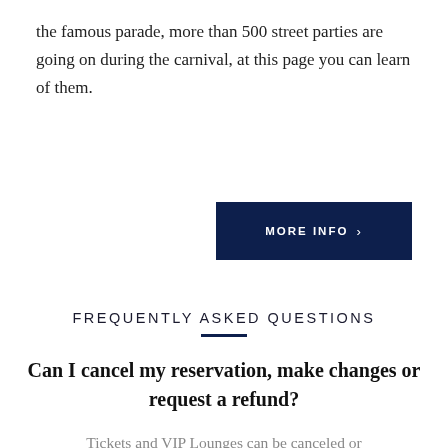the famous parade, more than 500 street parties are going on during the carnival, at this page you can learn of them.
MORE INFO >
FREQUENTLY ASKED QUESTIONS
Can I cancel my reservation, make changes or request a refund?
Tickets and VIP Lounges can be canceled or postponed/altered until September 30, subject to a 10% cancellation fee. To cancel a reservation, please contact one of our specialists directly. As of October